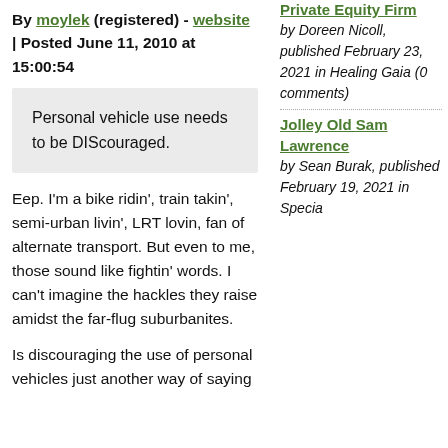By moylek (registered) - website | Posted June 11, 2010 at 15:00:54
Personal vehicle use needs to be DIScouraged.
Eep. I'm a bike ridin', train takin', semi-urban livin', LRT lovin, fan of alternate transport. But even to me, those sound like fightin' words. I can't imagine the hackles they raise amidst the far-flug suburbanites.
Is discouraging the use of personal vehicles just another way of saying
Private Equity Firm by Doreen Nicoll, published February 23, 2021 in Healing Gaia (0 comments)
Jolley Old Sam Lawrence by Sean Burak, published February 19, 2021 in Special